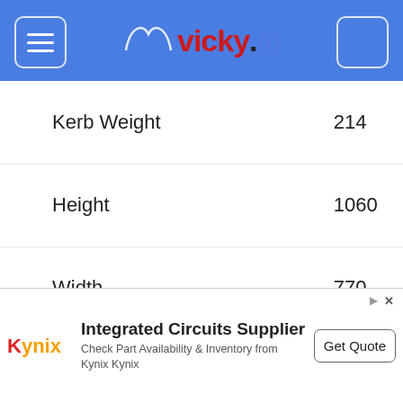[Figure (screenshot): vicky.in website header with navigation menu icon on left, vicky.in logo in center, and a button on the right, all on blue background]
| Specification | Value |
| --- | --- |
| Kerb Weight | 214 |
| Height | 1060 |
| Width | 770 |
| Length | 2140 |
| Ground Clearence | 135 |
| Reserve | 3.8 |
| Suspension Front | Telescopic forks |
[Figure (screenshot): Kynix advertisement banner: Integrated Circuits Supplier - Check Part Availability & Inventory from Kynix Kynix, with Get Quote button]